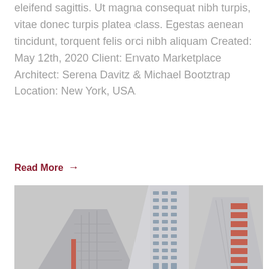eleifend sagittis. Ut magna consequat nibh turpis, vitae donec turpis platea class. Egestas aenean tincidunt, torquent felis orci nibh aliquam Created: May 12th, 2020 Client: Envato Marketplace Architect: Serena Davitz & Michael Bootztrap Location: New York, USA
Read More →
[Figure (photo): Upward-looking photo of modern skyscrapers with geometric facades, reddish and blue-grey tones, against an overcast grey sky.]